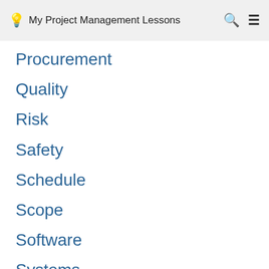My Project Management Lessons
Procurement
Quality
Risk
Safety
Schedule
Scope
Software
Systems
Tender